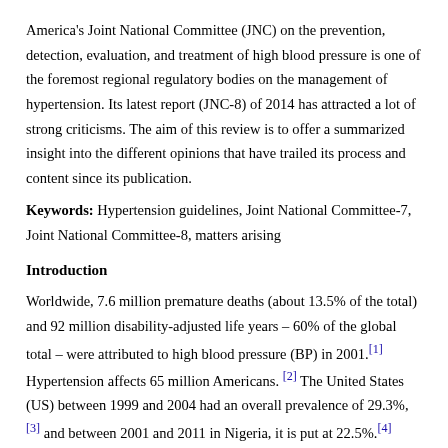America's Joint National Committee (JNC) on the prevention, detection, evaluation, and treatment of high blood pressure is one of the foremost regional regulatory bodies on the management of hypertension. Its latest report (JNC-8) of 2014 has attracted a lot of strong criticisms. The aim of this review is to offer a summarized insight into the different opinions that have trailed its process and content since its publication.
Keywords: Hypertension guidelines, Joint National Committee-7, Joint National Committee-8, matters arising
Introduction
Worldwide, 7.6 million premature deaths (about 13.5% of the total) and 92 million disability-adjusted life years – 60% of the global total – were attributed to high blood pressure (BP) in 2001.[1] Hypertension affects 65 million Americans.[2] The United States (US) between 1999 and 2004 had an overall prevalence of 29.3%,[3] and between 2001 and 2011 in Nigeria, it is put at 22.5%.[4] Control of hypertension is even more important in Nigeria considering that about 80% of the attributable burden occurred in low-income and middle-income economies and